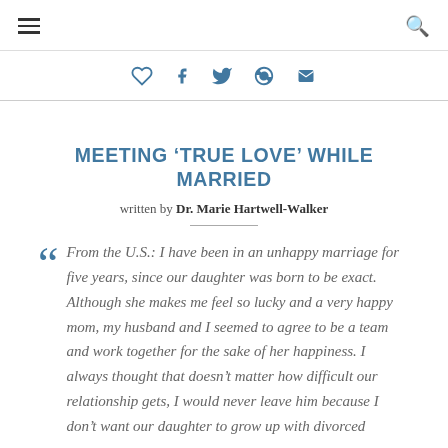≡  🔍
[Figure (infographic): Social sharing icons bar: heart, facebook, twitter, pinterest, email — in blue]
MEETING 'TRUE LOVE' WHILE MARRIED
written by Dr. Marie Hartwell-Walker
From the U.S.: I have been in an unhappy marriage for five years, since our daughter was born to be exact. Although she makes me feel so lucky and a very happy mom, my husband and I seemed to agree to be a team and work together for the sake of her happiness. I always thought that doesn't matter how difficult our relationship gets, I would never leave him because I don't want our daughter to grow up with divorced